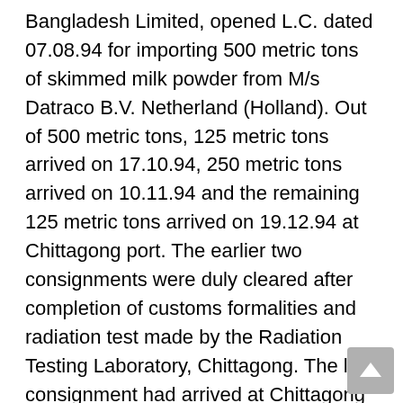Bangladesh Limited, opened L.C. dated 07.08.94 for importing 500 metric tons of skimmed milk powder from M/s Datraco B.V. Netherland (Holland). Out of 500 metric tons, 125 metric tons arrived on 17.10.94, 250 metric tons arrived on 10.11.94 and the remaining 125 metric tons arrived on 19.12.94 at Chittagong port. The earlier two consignments were duly cleared after completion of customs formalities and radiation test made by the Radiation Testing Laboratory, Chittagong. The last consignment had arrived at Chittagong port through M.V. Lanka Mahapola though the same was shipped from Rotterdam through M.V. Indira Gandhi.
On 20.11.94 one sample of the skimmed milk powder out of the said 125 metric tons was collected and